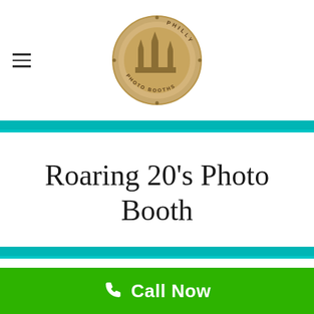[Figure (logo): Philly Photo Booths circular gold/bronze logo with building silhouette in center and text around the ring]
Roaring 20’s Photo Booth
Experience The Roaring 20’s Photo Booth — Gatsby Style Starting as low as $600
Call Now